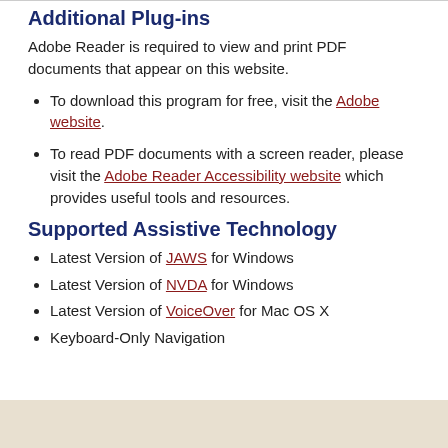Additional Plug-ins
Adobe Reader is required to view and print PDF documents that appear on this website.
To download this program for free, visit the Adobe website.
To read PDF documents with a screen reader, please visit the Adobe Reader Accessibility website which provides useful tools and resources.
Supported Assistive Technology
Latest Version of JAWS for Windows
Latest Version of NVDA for Windows
Latest Version of VoiceOver for Mac OS X
Keyboard-Only Navigation